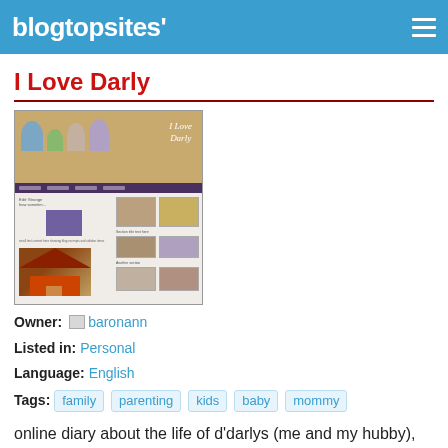blogtopsites'
I Love Darly
[Figure (screenshot): Screenshot of the 'I Love Darly' blog showing cartoon family characters at top, blog navigation, and post thumbnails]
Owner: baronann
Listed in: Personal
Language: English
Tags: family  parenting  kids  baby  mommy
online diary about the life of d'darlys (me and my hubby), our two bundles of joy and everything else in between